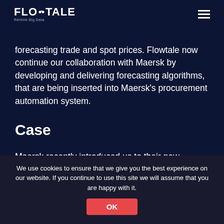FLOWTALE — Rethink Big Data
forecasting trade and spot prices. Flowtale now continue our collaboration with Maersk by developing and delivering forecasting algorithms, that are being inserted into Maersk's procurement automation system.
Case
Maersk recently introduced us to their new procurement automation platform, which needed support from several forecasting models, which predict a variety of variables from prices to demand. Flowtale stepped in right away and in just 1 month, we developed the first estimator and delivered it as a micro-service. We did this while regularly
We use cookies to ensure that we give you the best experience on our website. If you continue to use this site we will assume that you are happy with it.